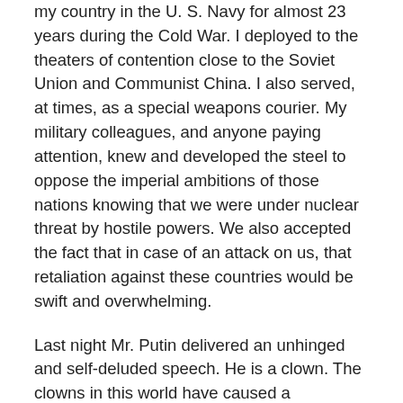my country in the U. S. Navy for almost 23 years during the Cold War. I deployed to the theaters of contention close to the Soviet Union and Communist China. I also served, at times, as a special weapons courier. My military colleagues, and anyone paying attention, knew and developed the steel to oppose the imperial ambitions of those nations knowing that we were under nuclear threat by hostile powers. We also accepted the fact that in case of an attack on us, that retaliation against these countries would be swift and overwhelming.
Last night Mr. Putin delivered an unhinged and self-deluded speech. He is a clown. The clowns in this world have caused a tremendous amount of human suffering and destruction. As Hannah Arendt noted, evil is banal. The clowns of this world, augmented by our so-called post-truth era, create an environment for banality to thrive. They spread the sickness–the pandemic–of their deranged minds onto the world.
Thus, almost in a caricature of the comedy of life, Donald Trump, the dictator's sycophant and a man of personal cowardice unknown in any previous U. S. president, praises